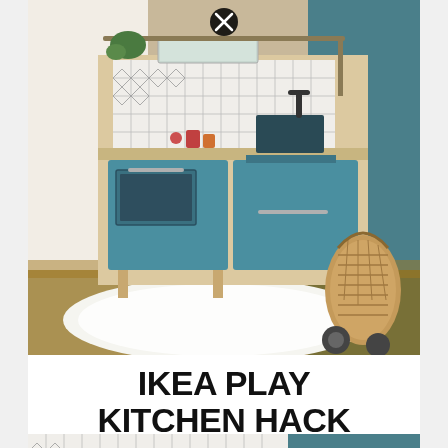[Figure (photo): IKEA play kitchen hack photo showing a teal/blue children's toy kitchen with wooden accents, patterned tile backsplash, sink with dark faucet, oven with window, toys and accessories, a fluffy white rug on the floor, and a wicker basket to the right. Close button (X) visible at top center.]
IKEA PLAY KITCHEN HACK
[Figure (photo): Bottom partial photo showing the patterned tile backsplash close-up with geometric designs, a close button (X) at bottom center, and partial view of the kitchen interior.]